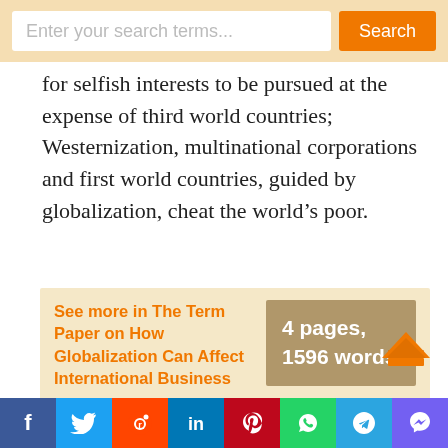[Figure (screenshot): Search bar UI with text input 'Enter your search terms...' and orange Search button on tan/wheat background]
for selfish interests to be pursued at the expense of third world countries; Westernization, multinational corporations and first world countries, guided by globalization, cheat the world's poor.
See more in The Term Paper on How Globalization Can Affect International Business
4 pages, 1596 words
In today's ever globalizing economy, global managers must utilize specific
[Figure (infographic): Social sharing bar with icons for Facebook, Twitter, Reddit, LinkedIn, Pinterest, WhatsApp, Telegram, Viber]